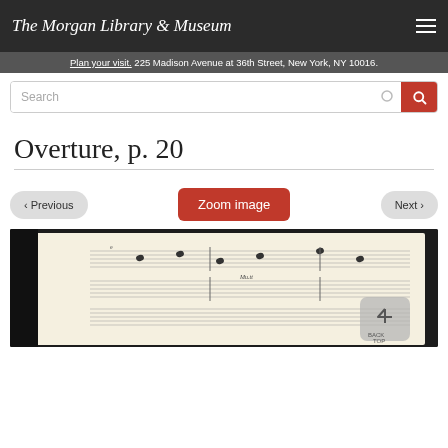The Morgan Library & Museum
Plan your visit. 225 Madison Avenue at 36th Street, New York, NY 10016.
Overture, p. 20
‹ Previous  Zoom image  Next ›
[Figure (photo): Manuscript page showing handwritten musical score notation on staff paper, viewed in a bound book with dark cover.]